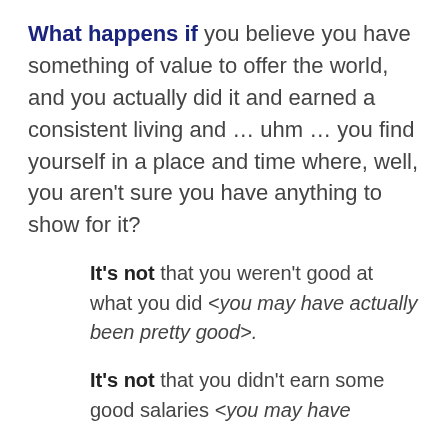What happens if you believe you have something of value to offer the world, and you actually did it and earned a consistent living and … uhm … you find yourself in a place and time where, well, you aren't sure you have anything to show for it?
It's not that you weren't good at what you did <you may have actually been pretty good>.
It's not that you didn't earn some good salaries <you may have